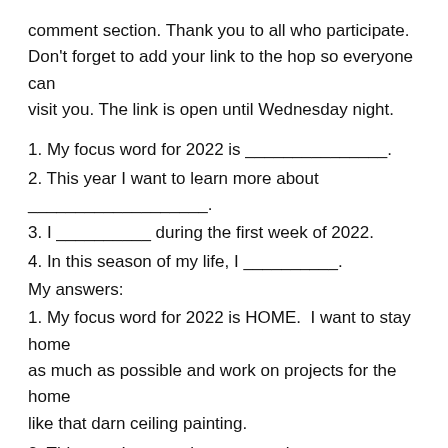comment section. Thank you to all who participate. Don't forget to add your link to the hop so everyone can visit you. The link is open until Wednesday night.
1. My focus word for 2022 is _______________.
2. This year I want to learn more about ___________________.
3. I __________ during the first week of 2022.
4. In this season of my life, I __________.
My answers:
1. My focus word for 2022 is HOME.  I want to stay home as much as possible and work on projects for the home like that darn ceiling painting.
2. This year I want to learn more about grants to open a shelter.